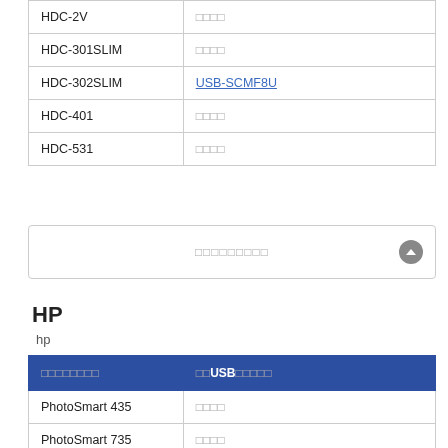|  |  |
| --- | --- |
| HDC-2V | □□□□ |
| HDC-301SLIM | □□□□ |
| HDC-302SLIM | USB-SCMF8U |
| HDC-401 | □□□□ |
| HDC-531 | □□□□ |
□□□□□□□□□
HP
hp
| □□□□□□□□ | □□USB□□□□□ |
| --- | --- |
| PhotoSmart 435 | □□□□ |
| PhotoSmart 735 | □□□□ |
| PhotoSmart 935 | □□□□ |
| PhotoSmart 945 | □□□□ |